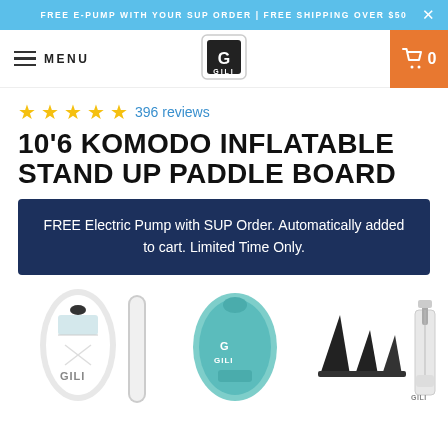FREE E-PUMP WITH YOUR SUP ORDER | FREE SHIPPING OVER $50
[Figure (screenshot): Website navigation bar with hamburger menu, MENU label, GILI brand logo, and orange cart icon with count 0]
★★★★★ 396 reviews
10'6 KOMODO INFLATABLE STAND UP PADDLE BOARD
FREE Electric Pump with SUP Order. Automatically added to cart. Limited Time Only.
[Figure (photo): Product images strip showing GILI 10'6 Komodo inflatable paddleboard from multiple angles: front view with black/white/teal design, side profile, teal back view, three black fins set, and white dual-action pump]